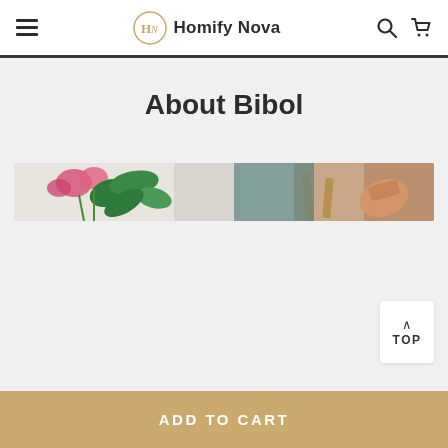Homify Nova
About Bibol
[Figure (photo): Banner image showing flowers (pink blooms, green leaves) and a hand holding a wooden object against a light background]
TOP
ADD TO CART